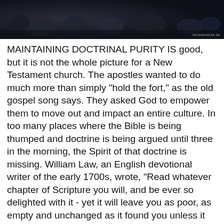[Figure (photo): Dark photograph showing a crowd of people, partially visible at top of page]
MAINTAINING DOCTRINAL PURITY IS good, but it is not the whole picture for a New Testament church. The apostles wanted to do much more than simply "hold the fort," as the old gospel song says. They asked God to empower them to move out and impact an entire culture. In too many places where the Bible is being thumped and doctrine is being argued until three in the morning, the Spirit of that doctrine is missing. William Law, an English devotional writer of the early 1700s, wrote, "Read whatever chapter of Scripture you will, and be ever so delighted with it - yet it will leave you as poor, as empty and unchanged as it found you unless it has turned you wholly and solely to the Spirit of God, and brought you into full union with and dependence upon him."1 — Jim Cymbala